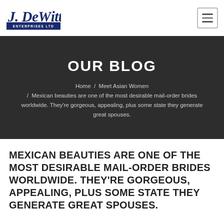[Figure (logo): J. DeWitt Enterprises Ltd logo in dark blue script and block letters]
OUR BLOG
Home / Meet Asian Women / Mexican beauties are one of the most desirable mail-order brides worldwide. They're gorgeous, appealing, plus some state they generate great spouses.
MEXICAN BEAUTIES ARE ONE OF THE MOST DESIRABLE MAIL-ORDER BRIDES WORLDWIDE. THEY'RE GORGEOUS, APPEALING, PLUS SOME STATE THEY GENERATE GREAT SPOUSES.